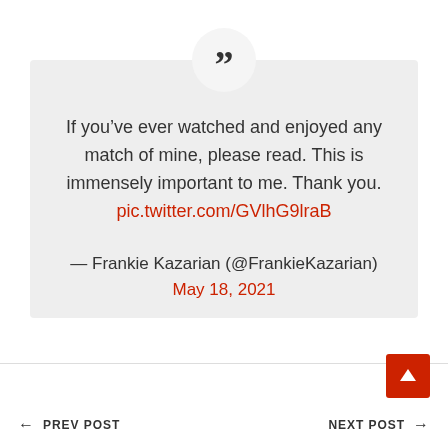If you’ve ever watched and enjoyed any match of mine, please read. This is immensely important to me. Thank you. pic.twitter.com/GVlhG9lraB
— Frankie Kazarian (@FrankieKazarian) May 18, 2021
← PREV POST    NEXT POST →